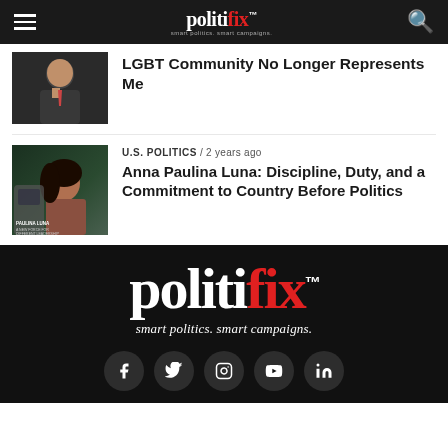politifix™ — smart politics. smart campaigns.
LGBT Community No Longer Represents Me
U.S. POLITICS / 2 years ago
Anna Paulina Luna: Discipline, Duty, and a Commitment to Country Before Politics
[Figure (logo): Politifix logo in large white and red serif font with tagline 'smart politics. smart campaigns.' on black background, with social media icons (Facebook, Twitter, Instagram, YouTube, LinkedIn) below]
Social icons: Facebook, Twitter, Instagram, YouTube, LinkedIn